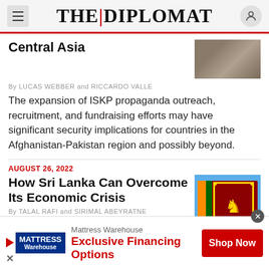THE DIPLOMAT
Central Asia
By LUCAS WEBBER and RICCARDO VALLE
The expansion of ISKP propaganda outreach, recruitment, and fundraising efforts may have significant security implications for countries in the Afghanistan-Pakistan region and possibly beyond.
AUGUST 26, 2022
How Sri Lanka Can Overcome Its Economic Crisis
By TALAL RAFI and SIRIMAL ABEYRATNE
The government should take advantage of the crisis to...
[Figure (photo): Rocky terrain photo]
[Figure (photo): Sri Lanka flag waving against blue sky]
[Figure (other): Mattress Warehouse advertisement banner with Exclusive Financing Options and Shop Now button]